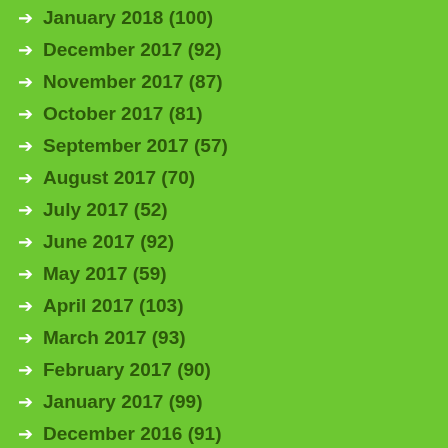January 2018 (100)
December 2017 (92)
November 2017 (87)
October 2017 (81)
September 2017 (57)
August 2017 (70)
July 2017 (52)
June 2017 (92)
May 2017 (59)
April 2017 (103)
March 2017 (93)
February 2017 (90)
January 2017 (99)
December 2016 (91)